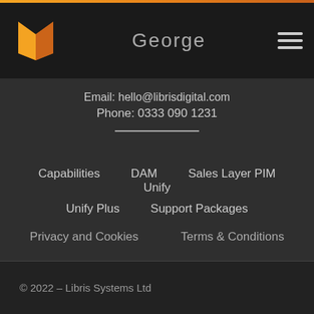[Figure (logo): Orange/yellow book-shaped logo on dark header]
George
Email: hello@librisdigital.com
Phone: 0333 090 1231
Capabilities
DAM
Sales Layer PIM
Unify
Unify Plus
Support Packages
Privacy and Cookies
Terms & Conditions
© 2022 – Libris Systems Ltd